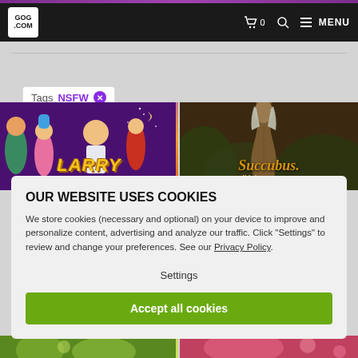GOG.COM navigation bar with cart, search, and menu
[Figure (screenshot): Leisure Suit Larry: Wet Dreams Don't Dry game cover art - animated characters on purple background]
[Figure (screenshot): Succubus: Bikini Armors DLC game cover art - female figure silhouette on dark background]
Tags NSFW
OUR WEBSITE USES COOKIES
We store cookies (necessary and optional) on your device to improve and personalize content, advertising and analyze our traffic. Click "Settings" to review and change your preferences. See our Privacy Policy.
Settings
Accept all cookies